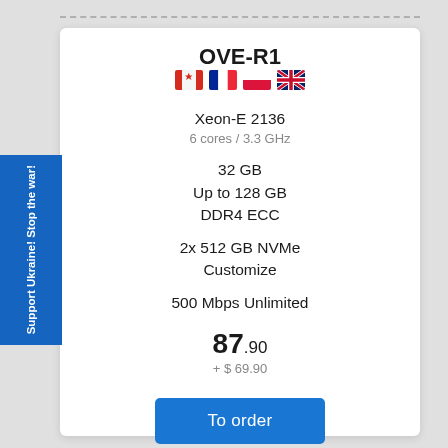OVE-R1
[Figure (illustration): Four country flags: Canada, France, Poland, United Kingdom]
Xeon-E 2136
6 cores / 3.3 GHz
32 GB
Up to 128 GB
DDR4 ECC
2x 512 GB NVMe
Customize
500 Mbps Unlimited
87.90
+ $ 69.90
To order
Support Ukraine! Stop the war!